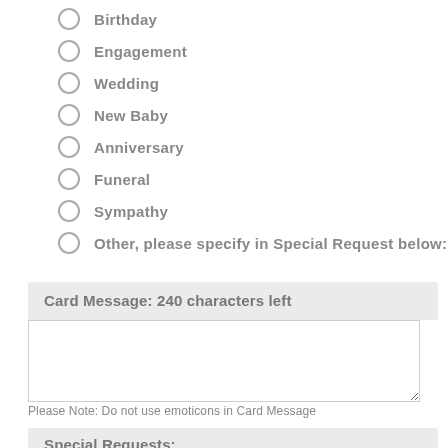Birthday
Engagement
Wedding
New Baby
Anniversary
Funeral
Sympathy
Other, please specify in Special Request below:
Card Message: 240 characters left
Please Note: Do not use emoticons in Card Message
Special Requests: